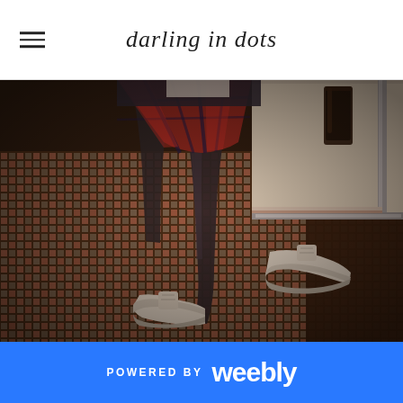darling in dots
[Figure (photo): Person sitting at a retro diner table wearing a red plaid skirt, dark tights, and white Converse sneakers on a mosaic tile floor. A glass of dark beverage is on the table.]
POWERED BY weebly